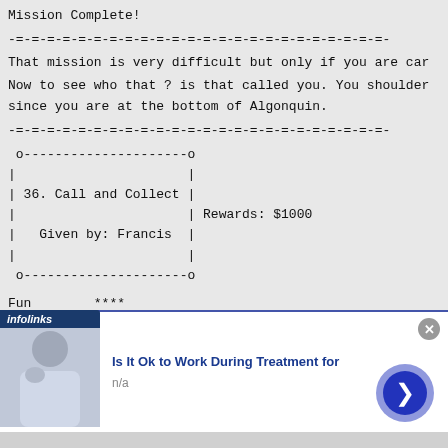Mission Complete!
-=-=-=-=-=-=-=-=-=-=-=-=-=-=-=-=-=-=-=-=-=-=-=-=-
That mission is very difficult but only if you are car
Now to see who that ? is that called you. You shoulder
since you are at the bottom of Algonquin.
-=-=-=-=-=-=-=-=-=-=-=-=-=-=-=-=-=-=-=-=-=-=-=-=-
o---------------------o
|
| 36. Call and Collect |
|
|   Given by: Francis  |   Rewards: $1000
|
 o---------------------o
Fun        ****
Length     ***
Difficulty ***
[Figure (screenshot): Infolinks advertisement overlay: 'Is It Ok to Work During Treatment for' with image of person, n/a subtext, navigation arrow button, and close button]